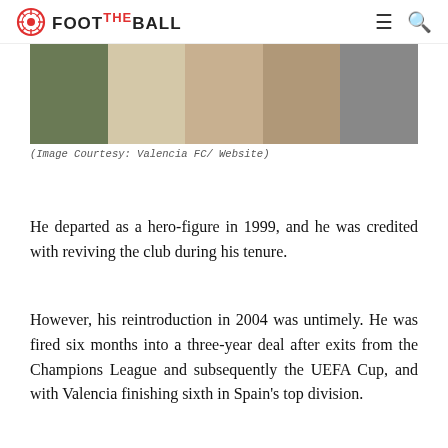FOOT THE BALL
[Figure (photo): Cropped photo showing people in football scarves and clothing, Valencia FC related image]
(Image Courtesy: Valencia FC/ Website)
He departed as a hero-figure in 1999, and he was credited with reviving the club during his tenure.
However, his reintroduction in 2004 was untimely. He was fired six months into a three-year deal after exits from the Champions League and subsequently the UEFA Cup, and with Valencia finishing sixth in Spain's top division.